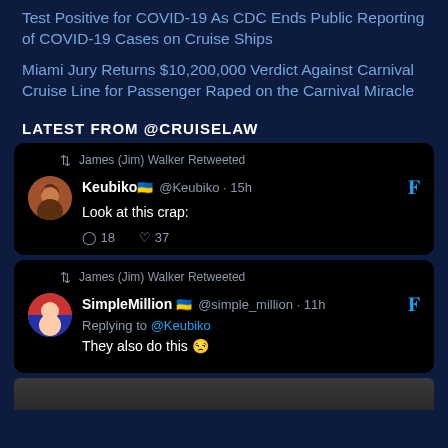Test Positive for COVID-19 As CDC Ends Public Reporting of COVID-19 Cases on Cruise Ships
Miami Jury Returns $10,200,000 Verdict Against Carnival Cruise Line for Passenger Raped on the Carnival Miracle
LATEST FROM @CRUISELAW
James (Jim) Walker Retweeted
Keubiko 🇺🇦 @Keubiko · 15h
Look at this crap:
💬 18  ♡ 37
James (Jim) Walker Retweeted
SimpleMillion 🇺🇦 @simple_million · 11h
Replying to @Keubiko
They also do this 😒